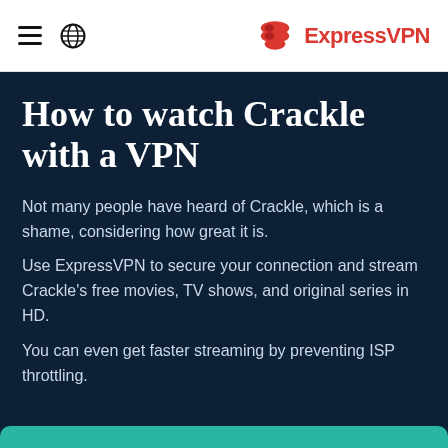ExpressVPN
How to watch Crackle with a VPN
Not many people have heard of Crackle, which is a shame, considering how great it is.
Use ExpressVPN to secure your connection and stream Crackle's free movies, TV shows, and original series in HD.
You can even get faster streaming by preventing ISP throttling.